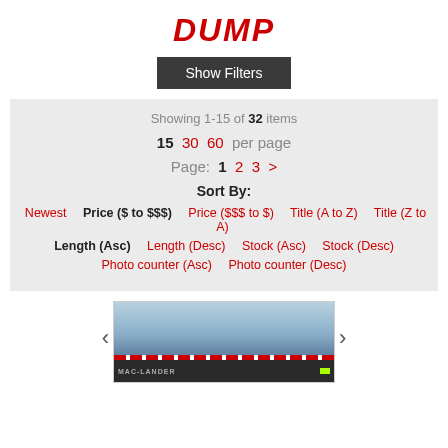DUMP
Show Filters
Showing 1-15 of 32 items
15  30  60  per page
Page: 1  2  3  >
Sort By:
Newest  Price ($ to $$$)  Price ($$$ to $)  Title (A to Z)  Title (Z to A)
Length (Asc)  Length (Desc)  Stock (Asc)  Stock (Desc)
Photo counter (Asc)  Photo counter (Desc)
[Figure (photo): Dump trailer product image with navigation arrows on left and right]